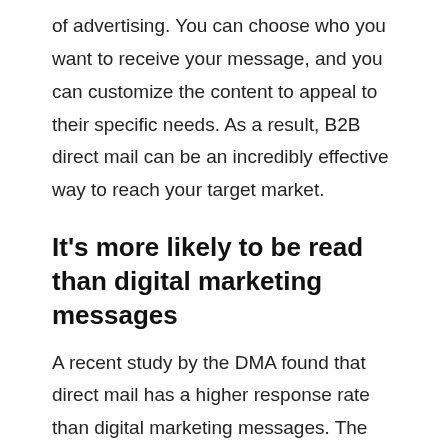of advertising. You can choose who you want to receive your message, and you can customize the content to appeal to their specific needs. As a result, B2B direct mail can be an incredibly effective way to reach your target market.
It's more likely to be read than digital marketing messages
A recent study by the DMA found that direct mail has a higher response rate than digital marketing messages. The study found that 74% of consumers said they were more likely to read a direct mail piece than an email and that direct mail is more trusted overall.